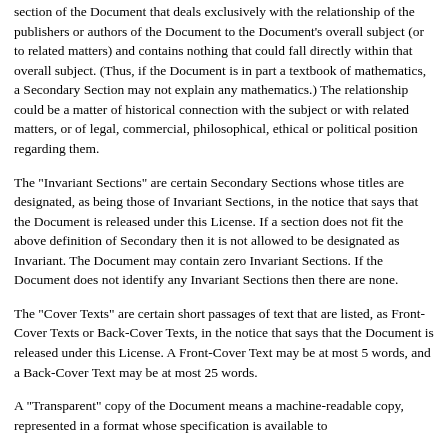section of the Document that deals exclusively with the relationship of the publishers or authors of the Document to the Document's overall subject (or to related matters) and contains nothing that could fall directly within that overall subject. (Thus, if the Document is in part a textbook of mathematics, a Secondary Section may not explain any mathematics.) The relationship could be a matter of historical connection with the subject or with related matters, or of legal, commercial, philosophical, ethical or political position regarding them.
The "Invariant Sections" are certain Secondary Sections whose titles are designated, as being those of Invariant Sections, in the notice that says that the Document is released under this License. If a section does not fit the above definition of Secondary then it is not allowed to be designated as Invariant. The Document may contain zero Invariant Sections. If the Document does not identify any Invariant Sections then there are none.
The "Cover Texts" are certain short passages of text that are listed, as Front-Cover Texts or Back-Cover Texts, in the notice that says that the Document is released under this License. A Front-Cover Text may be at most 5 words, and a Back-Cover Text may be at most 25 words.
A "Transparent" copy of the Document means a machine-readable copy, represented in a format whose specification is available to